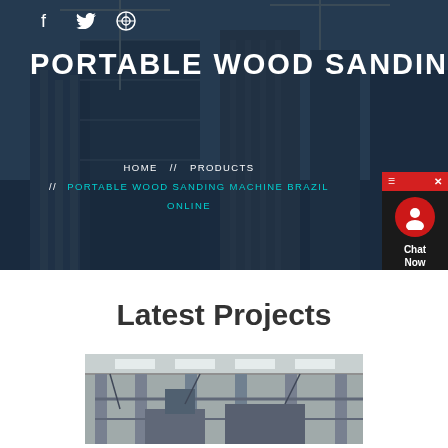[Figure (photo): Hero background: construction site with cranes and tall buildings under a blue sky, dark overlay applied]
PORTABLE WOOD SANDING MAC
HOME // PRODUCTS // PORTABLE WOOD SANDING MACHINE BRAZIL ONLINE
[Figure (illustration): Chat Now widget with red header, close button, avatar icon, and Chat Now text on dark background]
Latest Projects
[Figure (photo): Industrial machinery or factory equipment interior photo]